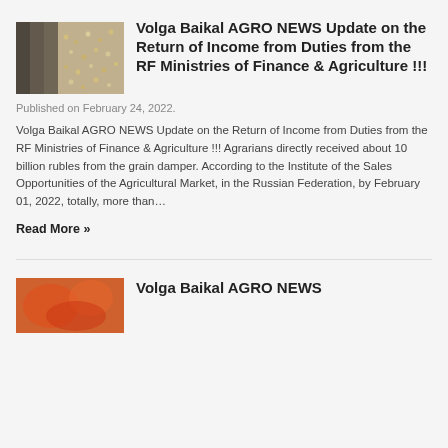[Figure (photo): Grain being conveyed, close-up view of grain/seeds on a conveyor or bin]
Volga Baikal AGRO NEWS Update on the Return of Income from Duties from the RF Ministries of Finance & Agriculture !!!
Published on February 24, 2022.
Volga Baikal AGRO NEWS Update on the Return of Income from Duties from the RF Ministries of Finance & Agriculture !!! Agrarians directly received about 10 billion rubles from the grain damper. According to the Institute of the Sales Opportunities of the Agricultural Market, in the Russian Federation, by February 01, 2022, totally, more than…
Read More »
[Figure (photo): Colorful agricultural product image, second article thumbnail]
Volga Baikal AGRO NEWS